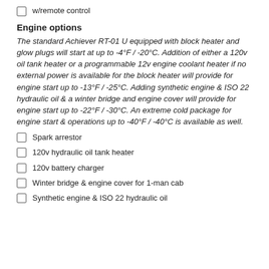w/remote control
Engine options
The standard Achiever RT-01 U equipped with block heater and glow plugs will start at up to -4°F / -20°C. Addition of either a 120v oil tank heater or a programmable 12v engine coolant heater if no external power is available for the block heater will provide for engine start up to -13°F / -25°C. Adding synthetic engine & ISO 22 hydraulic oil & a winter bridge and engine cover will provide for engine start up to -22°F / -30°C. An extreme cold package for engine start & operations up to -40°F / -40°C is available as well.
Spark arrestor
120v hydraulic oil tank heater
120v battery charger
Winter bridge & engine cover for 1-man cab
Synthetic engine & ISO 22 hydraulic oil